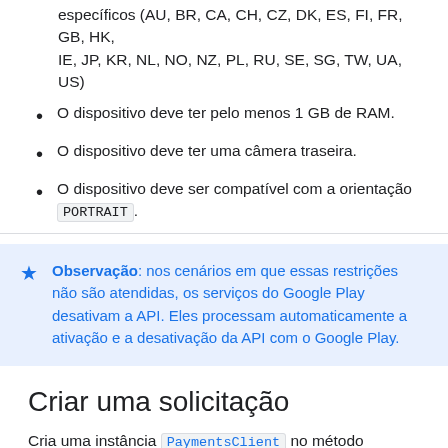O dispositivo precisa estar disponível em países específicos (AU, BR, CA, CH, CZ, DK, ES, FI, FR, GB, HK, IE, JP, KR, NL, NO, NZ, PL, RU, SE, SG, TW, UA, US)
O dispositivo deve ter pelo menos 1 GB de RAM.
O dispositivo deve ter uma câmera traseira.
O dispositivo deve ser compatível com a orientação PORTRAIT.
Observação: nos cenários em que essas restrições não são atendidas, os serviços do Google Play desativam a API. Eles processam automaticamente a ativação e a desativação da API com o Google Play.
Criar uma solicitação
Cria uma instância PaymentsClient no método